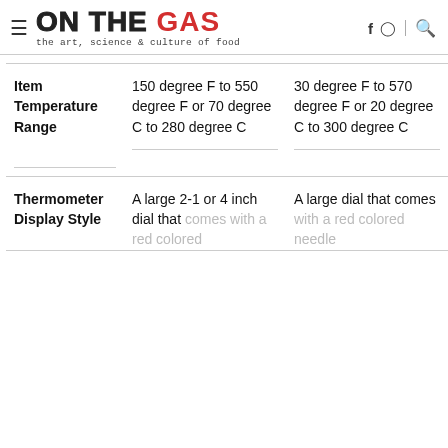ON THE GAS — the art, science & culture of food
| Item | 150 degree F to 550 degree F or 70 degree C to 280 degree C | 30 degree F to 570 degree F or 20 degree C to 300 degree C |
| --- | --- | --- |
| Temperature Range | 150 degree F to 550 degree F or 70 degree C to 280 degree C | 30 degree F to 570 degree F or 20 degree C to 300 degree C |
| Thermometer Display Style | A large 2-1 or 4 inch dial that comes with a red colored | A large dial that comes with a red colored needle |